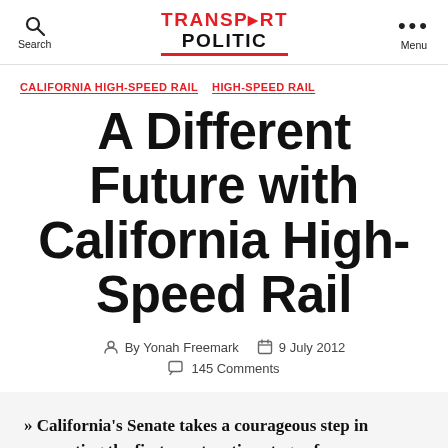Search | TRANSPORT POLITIC | Menu
CALIFORNIA HIGH-SPEED RAIL  HIGH-SPEED RAIL
A Different Future with California High-Speed Rail
By Yonah Freemark  9 July 2012  145 Comments
» California's Senate takes a courageous step in supporting the first construction stage of